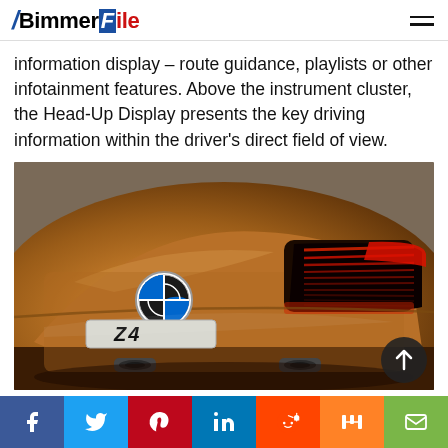BimmerFile
information display – route guidance, playlists or other infotainment features. Above the instrument cluster, the Head-Up Display presents the key driving information within the driver's direct field of view.
[Figure (photo): Rear view of a BMW Z4 concept car in bronze/copper metallic finish, showing the LED tail lights, BMW roundel badge, Z4 license plate area, and dual exhaust tips. There is a circular scroll-to-top button overlay in the bottom right corner.]
Social sharing bar: Facebook, Twitter, Pinterest, LinkedIn, Reddit, Mix, Email